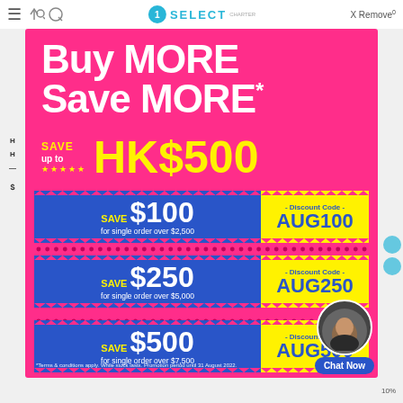SELECT — X Remove 0
Buy MORE Save MORE*
SAVE up to ★★★★★ HK$500
SAVE $100 for single order over $2,500 — Discount Code — AUG100
SAVE $250 for single order over $5,000 — Discount Code — AUG250
SAVE $500 for single order over $7,500 — Discount Code — AUG500
*Terms & conditions apply. While stock lasts. Promotion period until 31 August 2022.
Chat Now